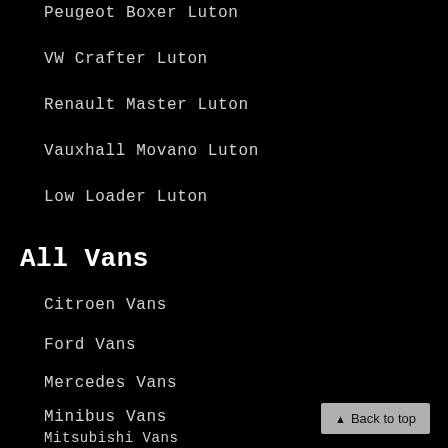Peugeot Boxer Luton
VW Crafter Luton
Renault Master Luton
Vauxhall Movano Luton
Low Loader Luton
All Vans
Citroen Vans
Ford Vans
Mercedes Vans
Minibus Vans
Mitsubishi Vans